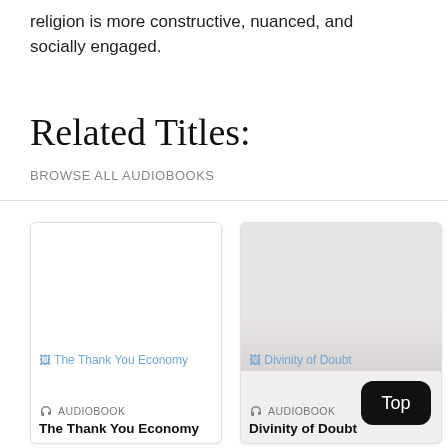religion is more constructive, nuanced, and socially engaged.
Related Titles:
BROWSE ALL AUDIOBOOKS
[Figure (screenshot): Card for audiobook 'The Thank You Economy' with broken image placeholder and headphone icon label]
AUDIOBOOK
The Thank You Economy
[Figure (screenshot): Card for audiobook 'Divinity of Doubt' with gradient background, broken image placeholder, headphone icon label, and 'Top' badge]
AUDIOBOOK
Divinity of Doubt